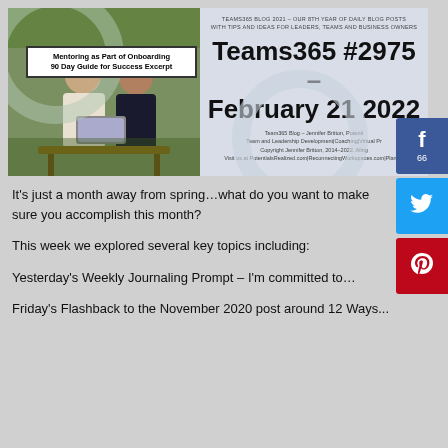[Figure (photo): Blog banner image for Teams365 #2975, February 21 2022. Left side shows a photo of two people in a mentoring/onboarding session outdoors, with a white box overlay reading 'Mentoring as Part of Onboarding 90 Day Guide for Success Excerpt'. Right side has the blog title 'Teams365 #2975 – February 21 2022' in bold black text on a light blue-grey background, with top header text 'TEAMS365 BLOG 2021 – OUR 8TH YEAR OF DAILY BLOG POSTS WITH TIPS AND IDEAS FOR LEADERS, TEAMS AND BUSINESS OWNERS' and bottom copyright text.]
It's just a month away from spring…what do you want to make sure you accomplish this month?
This week we explored several key topics including:
Yesterday's Weekly Journaling Prompt – I'm committed to…
Friday's Flashback to the November 2020 post around 12 Ways...